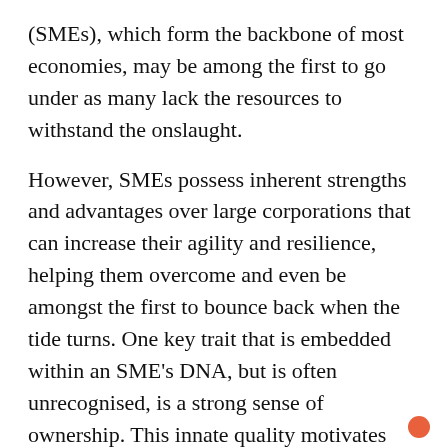(SMEs), which form the backbone of most economies, may be among the first to go under as many lack the resources to withstand the onslaught.
However, SMEs possess inherent strengths and advantages over large corporations that can increase their agility and resilience, helping them overcome and even be amongst the first to bounce back when the tide turns. One key trait that is embedded within an SME's DNA, but is often unrecognised, is a strong sense of ownership. This innate quality motivates SME owners to steward their companies with attentive passion, cultivate strong relationships with their stakeholders, and build a steadfast commitment to make the company thrive. In challenging times, it forms a good foundation to expediently shore up a defence to survive, and the base to quickly mount a recovery. This is the psychological ownership edge.